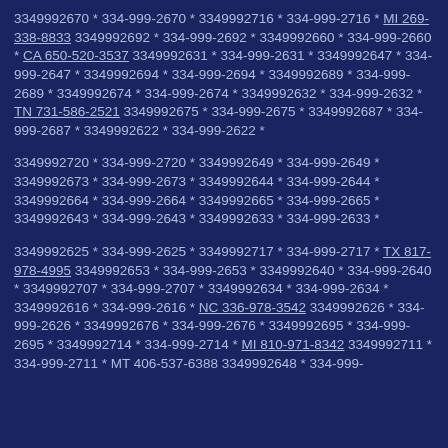3349992670 * 334-999-2670 * 3349992716 * 334-999-2716 * MI 269-338-8833 3349992692 * 334-999-2692 * 3349992660 * 334-999-2660 * CA 650-520-3537 3349992631 * 334-999-2631 * 3349992647 * 334-999-2647 * 3349992694 * 334-999-2694 * 3349992689 * 334-999-2689 * 3349992674 * 334-999-2674 * 3349992632 * 334-999-2632 * TN 731-586-2521 3349992675 * 334-999-2675 * 3349992687 * 334-999-2687 * 3349992622 * 334-999-2622 *
3349992720 * 334-999-2720 * 3349992649 * 334-999-2649 * 3349992673 * 334-999-2673 * 3349992644 * 334-999-2644 * 3349992664 * 334-999-2664 * 3349992665 * 334-999-2665 * 3349992643 * 334-999-2643 * 3349992633 * 334-999-2633 *
3349992625 * 334-999-2625 * 3349992717 * 334-999-2717 * TX 817-978-4995 3349992653 * 334-999-2653 * 3349992640 * 334-999-2640 * 3349992707 * 334-999-2707 * 3349992634 * 334-999-2634 * 3349992616 * 334-999-2616 * NC 336-978-3542 3349992626 * 334-999-2626 * 3349992676 * 334-999-2676 * 3349992695 * 334-999-2695 * 3349992714 * 334-999-2714 * MI 810-971-8342 3349992711 * 334-999-2711 * MT 406-537-6388 3349992648 * 334-999-